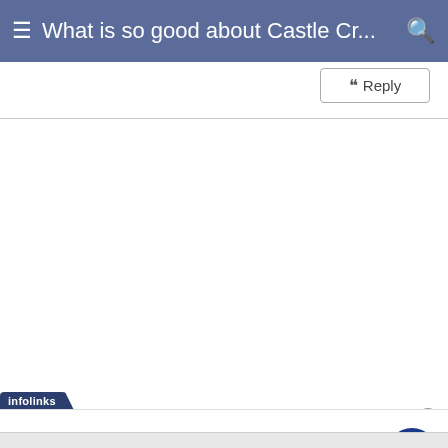What is so good about Castle Cr...
Reply
[Figure (screenshot): White empty content area of a forum/discussion page]
infolinks
Wayfair.com - Online Home Store Sale!
Shop for A Zillion Things Home across all styles at Wayfair!
www.wayfair.com